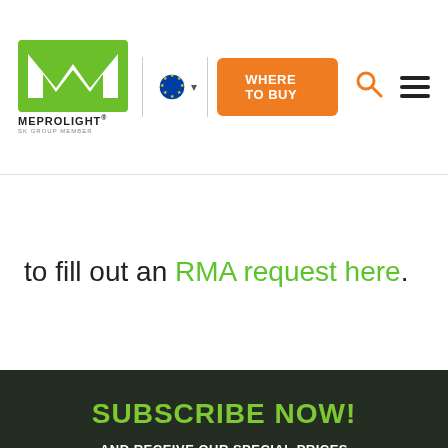[Figure (logo): Meprolight logo with green M mark and text MEPROLIGHT, SK Group Member]
to fill out an RMA request here.
SUBSCRIBE NOW!
AND RECEIVE OUR SPECIAL PRICES AND LATEST PRODUCT UPDATES
YOUR EMAIL